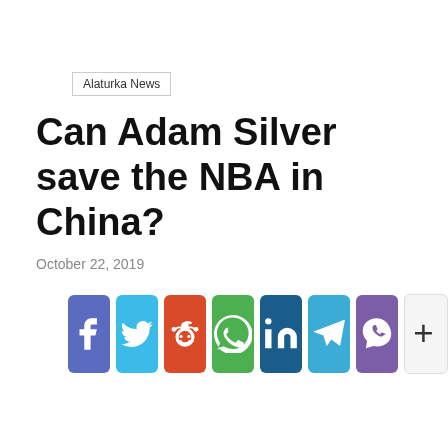Alaturka News
Can Adam Silver save the NBA in China?
October 22, 2019
[Figure (infographic): Social media share buttons: Facebook, Twitter, Reddit, WhatsApp, LinkedIn, Telegram, Viber, and a More (+) button]